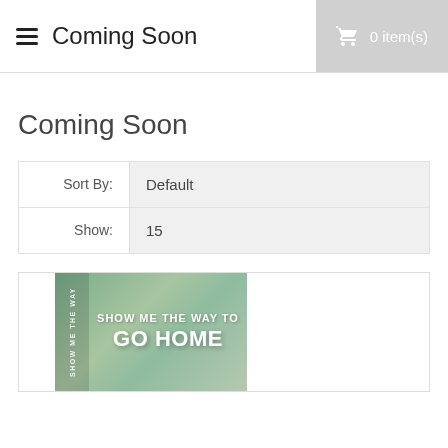Coming Soon  0 item(s)
Coming Soon
Sort By: Default
Show: 15
[Figure (photo): Book cover with green background showing text SHOW ME THE WAY TO GO HOME with a vertical spine text reading SHOW ME THE WAY]